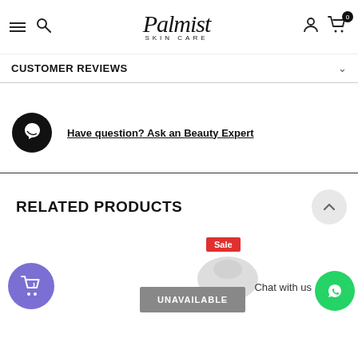[Figure (screenshot): Palmist Skin Care website header with hamburger menu, search icon, logo, user icon, and cart icon with badge 0]
CUSTOMER REVIEWS
Have question? Ask an Beauty Expert
RELATED PRODUCTS
[Figure (screenshot): Bottom area showing floating cart button, Sale badge, product image, UNAVAILABLE button, Chat with us label, and WhatsApp icon]